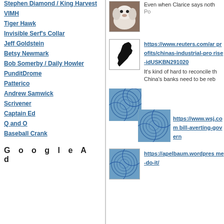Stephen Diamond / King Harvest
VIMH
Tiger Hawk
Invisible Serf's Collar
Jeff Goldstein
Betsy Newmark
Bob Somerby / Daily Howler
PunditDrome
Patterico
Andrew Samwick
Scrivener
Captain Ed
Q and O
Baseball Crank
Google Ad
[Figure (photo): Photo of a white fluffy dog]
Even when Clarice says noth
Po
[Figure (illustration): Silhouette of New Jersey state shape in black]
https://www.reuters.com/ar profits/chinas-industrial-pro rise-idUSKBN291020
It's kind of hard to reconcile th China's banks need to be reb
[Figure (illustration): Blue decorative circular pattern image (overlapping, two thumbnails)]
https://www.wsj.com bill-averting-govern
[Figure (illustration): Blue decorative circular pattern image thumbnail]
https://apelbaum.wordpres me-do-it/